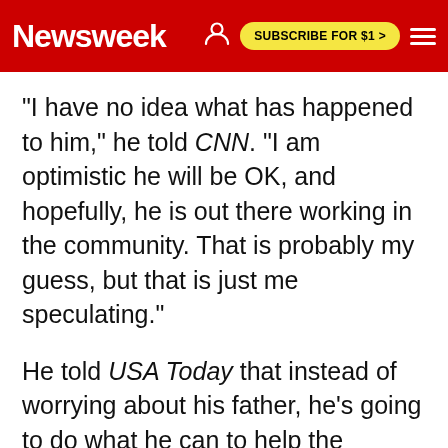Newsweek  SUBSCRIBE FOR $1 >
"I have no idea what has happened to him," he told CNN. "I am optimistic he will be OK, and hopefully, he is out there working in the community. That is probably my guess, but that is just me speculating."
He told USA Today that instead of worrying about his father, he's going to do what he can to help the islands recover from the devastation.
"I have no choice. When times get tough is